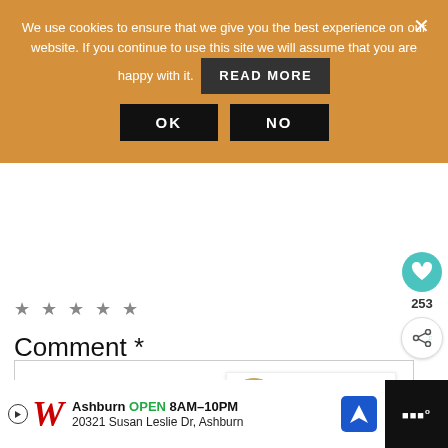We use cookies to ensure that we give you the best experience on our website. If you continue to use this site we will assume that you are happy with it. READ MORE
OK
NO
★ ★ ★ ★ ★
Comment *
[Figure (screenshot): Comment text area input box]
[Figure (infographic): Floating heart button with count 253 and share button]
WHAT'S NEXT → How to Poach Eggs in Map...
[Figure (infographic): Advertisement banner: Walgreens, Ashburn OPEN 8AM–10PM, 20321 Susan Leslie Dr, Ashburn]